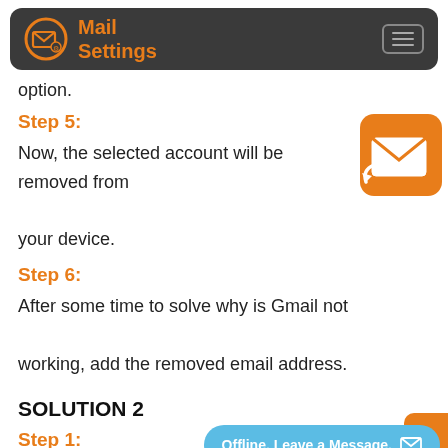Mail Settings
option.
Step 5:
Now, the selected account will be removed from your device.
Step 6:
After some time to solve why is Gmail not working, add the removed email address.
SOLUTION 2
Step 1: